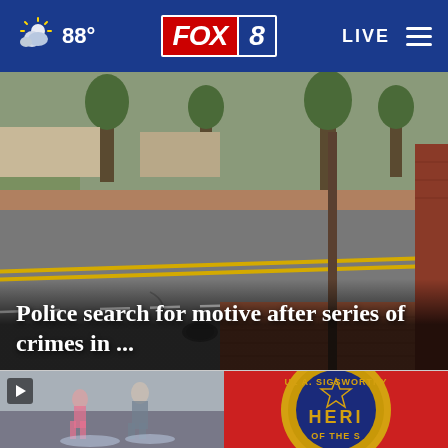88° FOX 8 LIVE
[Figure (screenshot): Street-level surveillance camera view showing a road with yellow center lines, utility pole, brick sidewalk, and trees in the background]
Police search for motive after series of crimes in ...
[Figure (screenshot): Video thumbnail with play button showing people near a water feature or splash pad]
[Figure (screenshot): Sheriff badge or emblem showing text 'UL A. SIGSWORTH HERI OF THE S' in gold, navy and red]